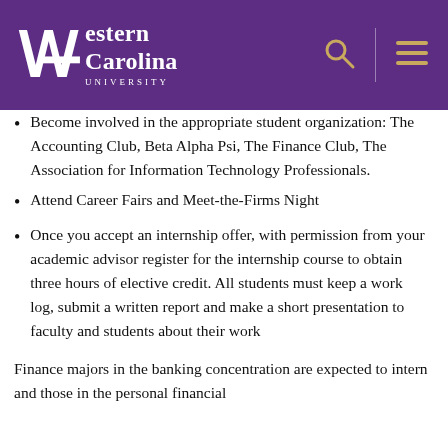Western Carolina University
Become involved in the appropriate student organization: The Accounting Club, Beta Alpha Psi, The Finance Club, The Association for Information Technology Professionals.
Attend Career Fairs and Meet-the-Firms Night
Once you accept an internship offer, with permission from your academic advisor register for the internship course to obtain three hours of elective credit. All students must keep a work log, submit a written report and make a short presentation to faculty and students about their work
Finance majors in the banking concentration are expected to intern and those in the personal financial